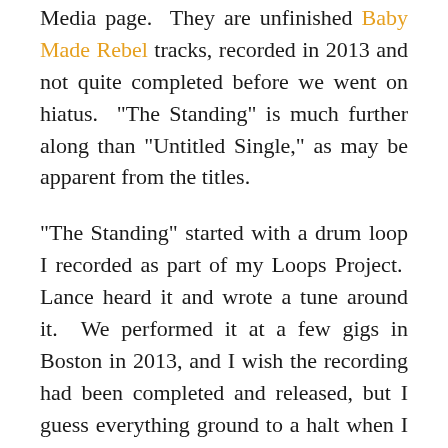Media page. They are unfinished Baby Made Rebel tracks, recorded in 2013 and not quite completed before we went on hiatus. "The Standing" is much further along than "Untitled Single," as may be apparent from the titles.
"The Standing" started with a drum loop I recorded as part of my Loops Project. Lance heard it and wrote a tune around it. We performed it at a few gigs in Boston in 2013, and I wish the recording had been completed and released, but I guess everything ground to a halt when I left for Germany.